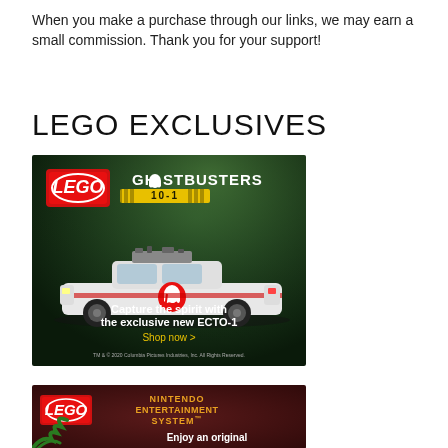When you make a purchase through our links, we may earn a small commission. Thank you for your support!
LEGO EXCLUSIVES
[Figure (illustration): LEGO Ghostbusters ECTO-1 advertisement. Dark green background with LEGO logo in red, Ghostbusters logo text, '10-1' set number badge in yellow, a white Ghostbusters ECTO-1 car model centered, text 'Capture the spirit with the exclusive new ECTO-1', 'Shop now >' in yellow, and small copyright text 'TM & © 2020 Columbia Pictures Industries, Inc. All Rights Reserved.']
[Figure (illustration): LEGO Nintendo Entertainment System advertisement. Dark red/brown background with LEGO logo in red, 'NINTENDO ENTERTAINMENT SYSTEM' text in orange/yellow, green leaf decoration at bottom left, text 'Enjoy an original' partially visible.]